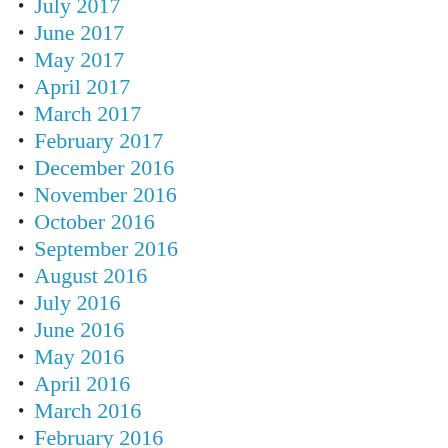July 2017
June 2017
May 2017
April 2017
March 2017
February 2017
December 2016
November 2016
October 2016
September 2016
August 2016
July 2016
June 2016
May 2016
April 2016
March 2016
February 2016